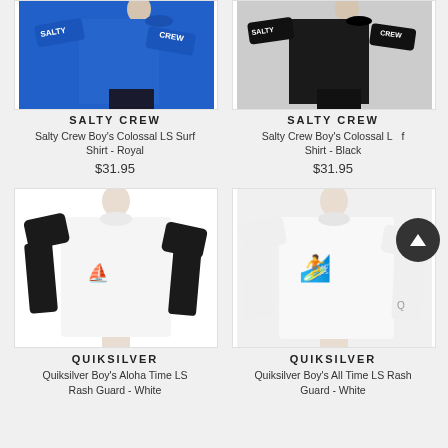[Figure (photo): Mannequin wearing Salty Crew Boy's Colossal LS Surf Shirt in Royal blue color]
SALTY CREW
Salty Crew Boy's Colossal LS Surf Shirt - Royal
$31.95
[Figure (photo): Mannequin wearing Salty Crew Boy's Colossal LS Surf Shirt in Black color]
SALTY CREW
Salty Crew Boy's Colossal LS Surf Shirt - Black
$31.95
[Figure (photo): Mannequin wearing Quiksilver Boy's Aloha Time LS Rash Guard in white with black sleeves]
QUIKSILVER
Quiksilver Boy's Aloha Time LS Rash Guard - White
[Figure (photo): Mannequin wearing Quiksilver Boy's All Time LS Rash Guard in white]
QUIKSILVER
Quiksilver Boy's All Time LS Rash Guard - White